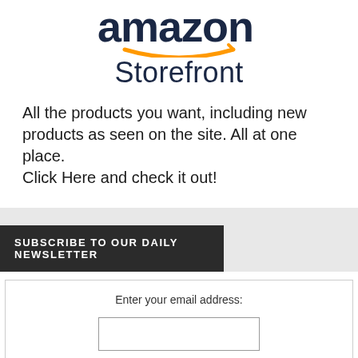[Figure (logo): Amazon logo with orange arrow/smile and dark blue 'amazon' wordmark text, partially visible at top]
Storefront
All the products you want, including new products as seen on the site. All at one place.
Click Here and check it out!
SUBSCRIBE TO OUR DAILY NEWSLETTER
Enter your email address: